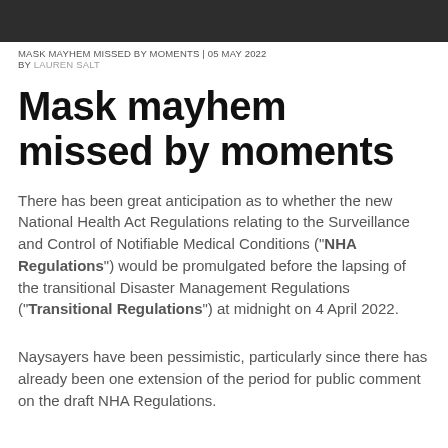[Figure (photo): Dark grey header image banner at the top of the page]
MASK MAYHEM MISSED BY MOMENTS | 05 MAY 2022
BY LAUREN SALT
Mask mayhem missed by moments
There has been great anticipation as to whether the new National Health Act Regulations relating to the Surveillance and Control of Notifiable Medical Conditions (“NHA Regulations”) would be promulgated before the lapsing of the transitional Disaster Management Regulations (“Transitional Regulations”) at midnight on 4 April 2022.
Naysayers have been pessimistic, particularly since there has already been one extension of the period for public comment on the draft NHA Regulations.